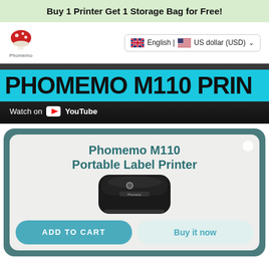Buy 1 Printer Get 1 Storage Bag for Free!
[Figure (logo): Phomemo mushroom logo with red mushroom cap and white spots, with 'Phomemo' text below]
English | US dollar (USD)
[Figure (screenshot): YouTube video thumbnail showing 'PHOMEMO M110 PRIN...' text on a cyan/blue background with 'Watch on YouTube' overlay]
Phomemo M110 Portable Label Printer
[Figure (photo): Phomemo M110 portable label printer in black color with Phomemo logo on top]
ADD TO CART
Buy it now